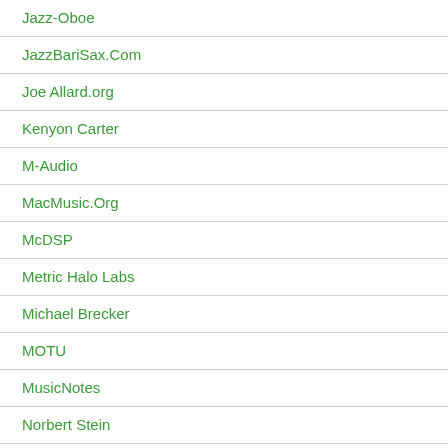Jazz-Oboe
JazzBariSax.Com
Joe Allard.org
Kenyon Carter
M-Audio
MacMusic.Org
McDSP
Metric Halo Labs
Michael Brecker
MOTU
MusicNotes
Norbert Stein